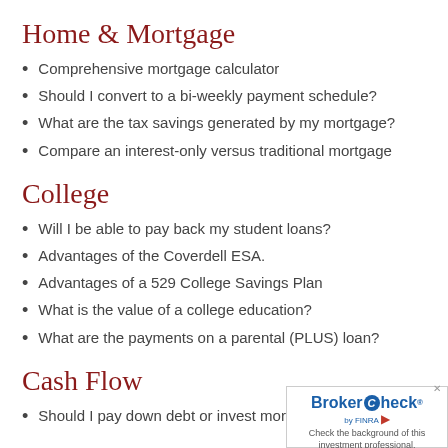Home & Mortgage
Comprehensive mortgage calculator
Should I convert to a bi-weekly payment schedule?
What are the tax savings generated by my mortgage?
Compare an interest-only versus traditional mortgage
College
Will I be able to pay back my student loans?
Advantages of the Coverdell ESA.
Advantages of a 529 College Savings Plan
What is the value of a college education?
What are the payments on a parental (PLUS) loan?
Cash Flow
Should I pay down debt or invest more?